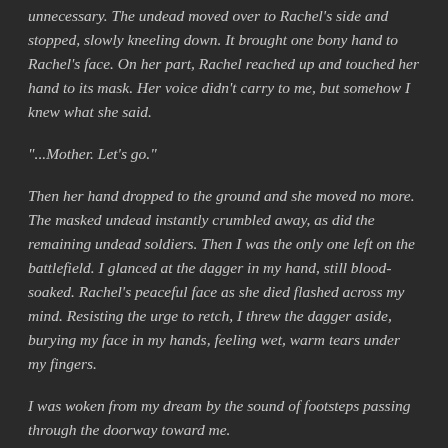unnecessary. The undead moved over to Rachel's side and stopped, slowly kneeling down. It brought one bony hand to Rachel's face. On her part, Rachel reached up and touched her hand to its mask. Her voice didn't carry to me, but somehow I knew what she said.
“...Mother. Let’s go.”
Then her hand dropped to the ground and she moved no more. The masked undead instantly crumbled away, as did the remaining undead soldiers. Then I was the only one left on the battlefield. I glanced at the dagger in my hand, still blood-soaked. Rachel’s peaceful face as she died flashed across my mind. Resisting the urge to retch, I threw the dagger aside, burying my face in my hands, feeling wet, warm tears under my fingers.
I was woken from my dream by the sound of footsteps passing through the doorway toward me.